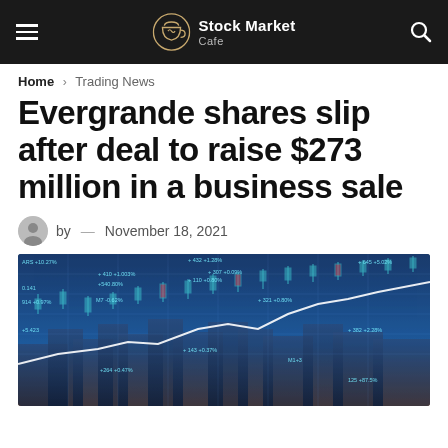Stock Market Cafe
Home › Trading News
Evergrande shares slip after deal to raise $273 million in a business sale
by — November 18, 2021
[Figure (photo): Stock market financial data visualization with candlestick charts, trend lines, and city skyline in the background. Blue-toned digital overlay with trading data annotations.]